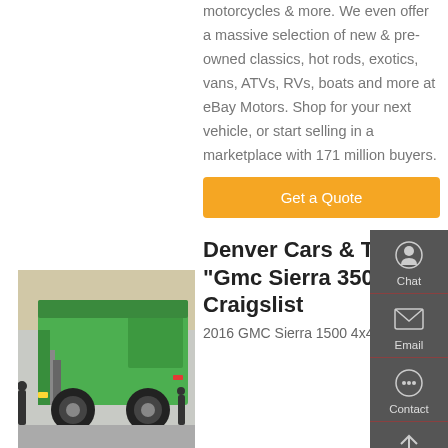motorcycles & more. We even offer a massive selection of new & pre-owned classics, hot rods, exotics, vans, ATVs, RVs, boats and more at eBay Motors. Shop for your next vehicle, or start selling in a marketplace with 171 million buyers.
Get a Quote
[Figure (photo): Green dump truck / refuse truck photographed from the rear, parked in front of a building with people visible in the background.]
Denver Cars & Trucks "Gmc Sierra 3500" - Craigslist
2016 GMC Sierra 1500 4x4 4WD